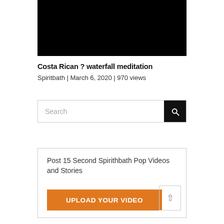[Figure (screenshot): Black video thumbnail rectangle]
Costa Rican ? waterfall meditation
Spiritbath | March 6, 2020 | 970 views
[Figure (screenshot): Search bar with magnifying glass button]
Post 15 Second Spirithbath Pop Videos and Stories
UPLOAD YOUR VIDEO